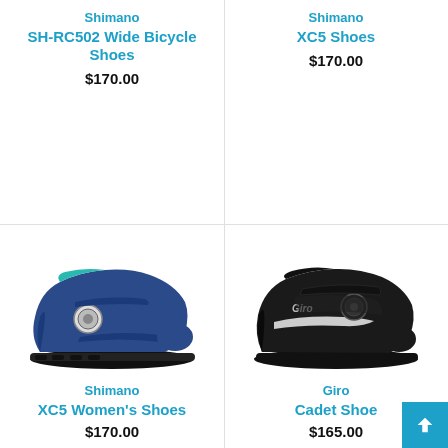Shimano
SH-RC502 Wide Bicycle Shoes
$170.00
Shimano
XC5 Shoes
$170.00
[Figure (photo): Shimano XC5 Women's Shoes - blue mountain bike shoe with BOA dial and velcro straps, viewed from the side]
Shimano
XC5 Women's Shoes
$170.00
[Figure (photo): Giro Cadet Shoe - black road cycling shoe with BOA dial and velcro strap, viewed from the side]
Giro
Cadet Shoe
$165.00